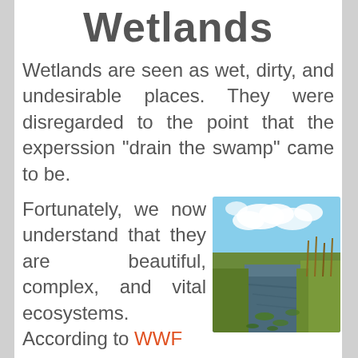Wetlands
Wetlands are seen as wet, dirty, and undesirable places. They were disregarded to the point that the experssion "drain the swamp" came to be.
Fortunately, we now understand that they are beautiful, complex, and vital ecosystems. According to WWF
[Figure (photo): A wetland scene showing a water canal or river surrounded by green reeds and vegetation, with lily pads on the water surface and a blue sky with white clouds in the background.]